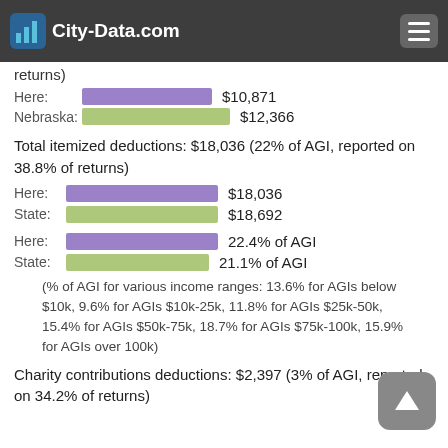City-Data.com
returns)
Here: $10,871   Nebraska: $12,366
Total itemized deductions: $18,036 (22% of AGI, reported on 38.8% of returns)
Here: $18,036   State: $18,692
Here: 22.4% of AGI   State: 21.1% of AGI
(% of AGI for various income ranges: 13.6% for AGIs below $10k, 9.6% for AGIs $10k-25k, 11.8% for AGIs $25k-50k, 15.4% for AGIs $50k-75k, 18.7% for AGIs $75k-100k, 15.9% for AGIs over 100k)
Charity contributions deductions: $2,397 (3% of AGI, reported on 34.2% of returns)